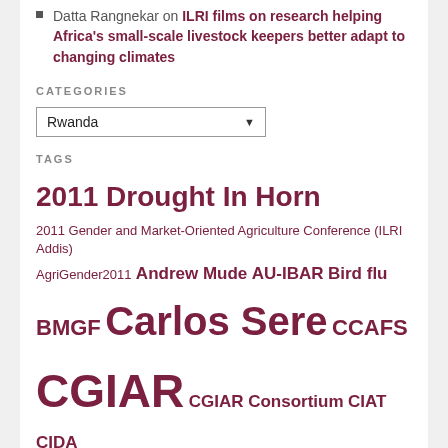Datta Rangnekar on ILRI films on research helping Africa's small-scale livestock keepers better adapt to changing climates
CATEGORIES
Rwanda (dropdown)
TAGS
2011 Drought In Horn 2011 Gender and Market-Oriented Agriculture Conference (ILRI Addis) AgriGender2011 Andrew Mude AU-IBAR Bird flu BMGF Carlos Sere CCAFS CGIAR CGIAR Consortium CIAT CIDA Delia Grace DFID DroughtInHorn2011 ECF FAO FARA Greenhouse gas emissions